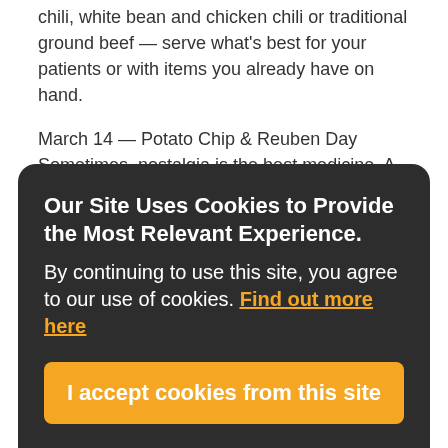chili, white bean and chicken chili or traditional ground beef — serve what's best for your patients or with items you already have on hand.
March 14 — Potato Chip & Reuben Day Sometimes, nostalgia is the best medicine. A classic reuben sandwich with corned beef, sauerkraut, swiss
Our Site Uses Cookies to Provide the Most Relevant Experience. By continuing to use this site, you agree to our use of cookies. Find out more here
I accept cookies from this site